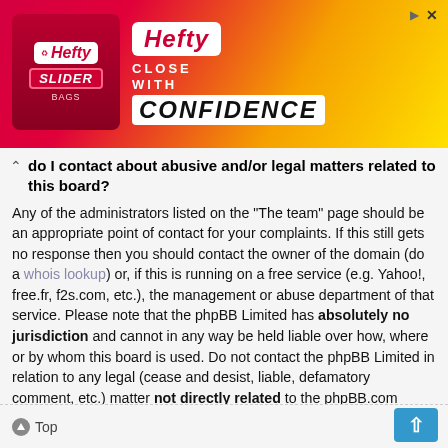[Figure (other): Hefty Slider bags advertisement banner with red/yellow/orange gradient background, Hefty logo on left with SLIDER text, and 'Hefty CLOSE WITH CONFIDENCE' text on right]
do I contact about abusive and/or legal matters related to this board?
Any of the administrators listed on the "The team" page should be an appropriate point of contact for your complaints. If this still gets no response then you should contact the owner of the domain (do a whois lookup) or, if this is running on a free service (e.g. Yahoo!, free.fr, f2s.com, etc.), the management or abuse department of that service. Please note that the phpBB Limited has absolutely no jurisdiction and cannot in any way be held liable over how, where or by whom this board is used. Do not contact the phpBB Limited in relation to any legal (cease and desist, liable, defamatory comment, etc.) matter not directly related to the phpBB.com website or the discrete software of phpBB itself. If you do email phpBB Limited about any third party use of this software then you should expect a terse response or no response at all.
Top